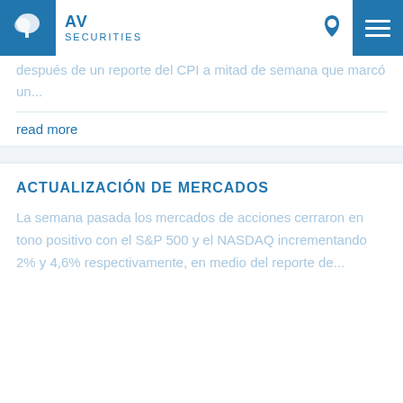AV SECURITIES
después de un reporte del CPI a mitad de semana que marcó un...
read more
ACTUALIZACIÓN DE MERCADOS
La semana pasada los mercados de acciones cerraron en tono positivo con el S&P 500 y el NASDAQ incrementando 2% y 4,6% respectivamente, en medio del reporte de...